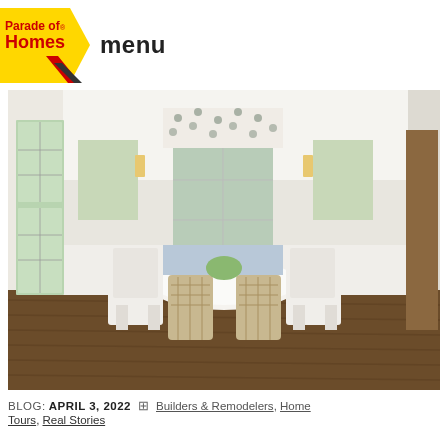Parade of Homes — menu
[Figure (photo): Bright white dining room with round white table, slipcovered chairs, rattan chairs, hardwood floors, French doors, and patterned roman shade window treatment]
BLOG: APRIL 3, 2022  ⊞  Builders & Remodelers, Home Tours, Real Stories